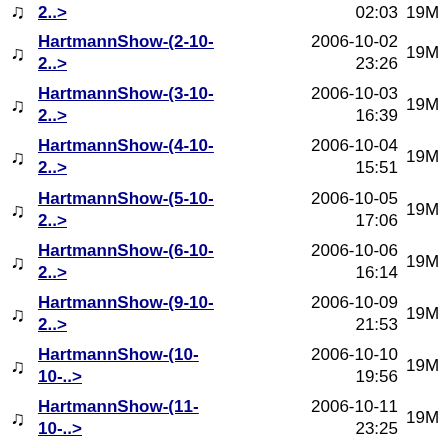2..> 02:03 19M
HartmannShow-(2-10-2..> 2006-10-02 23:26 19M
HartmannShow-(3-10-2..> 2006-10-03 16:39 19M
HartmannShow-(4-10-2..> 2006-10-04 15:51 19M
HartmannShow-(5-10-2..> 2006-10-05 17:06 19M
HartmannShow-(6-10-2..> 2006-10-06 16:14 19M
HartmannShow-(9-10-2..> 2006-10-09 21:53 19M
HartmannShow-(10-10-..> 2006-10-10 19:56 19M
HartmannShow-(11-10-..> 2006-10-11 23:25 19M
HartmannShow-(12-10-..> 2006-10-12 16:32 19M
HartmannShow-(13-10-..> 2006-10-13 19:18 19M
HartmannShow-(16-10-..> 2006-10-16 17:15 19M